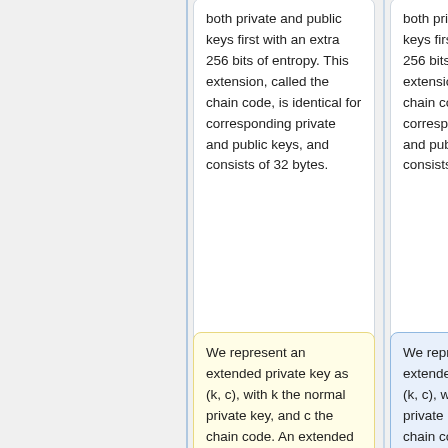both private and public keys first with an extra 256 bits of entropy. This extension, called the chain code, is identical for corresponding private and public keys, and consists of 32 bytes.
both private and public keys first with an extra 256 bits of entropy. This extension, called the chain code, is identical for corresponding private and public keys, and consists of 32 bytes.
We represent an extended private key as (k, c), with k the normal private key, and c the chain code. An extended
We represent an extended private key as (k, c), with k the normal private key, and c the chain code. An extended